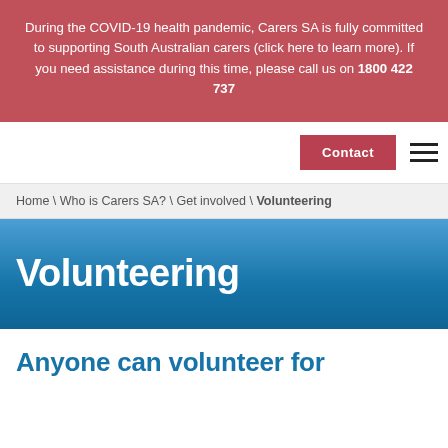During the COVID-19 health pandemic, Carers SA is fully committed to supporting South Australian carers (click here to learn more). If you need assistance during this time, please call us on 1800 422 737
Contact | Menu
Home \ Who is Carers SA? \ Get involved \ Volunteering
Volunteering
Anyone can volunteer for